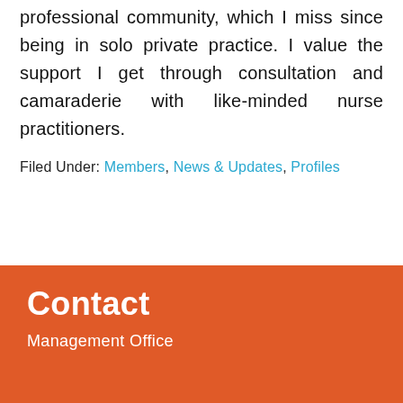AAFPN has given me a sense of professional community, which I miss since being in solo private practice. I value the support I get through consultation and camaraderie with like-minded nurse practitioners.
Filed Under: Members, News & Updates, Profiles
Contact
Management Office